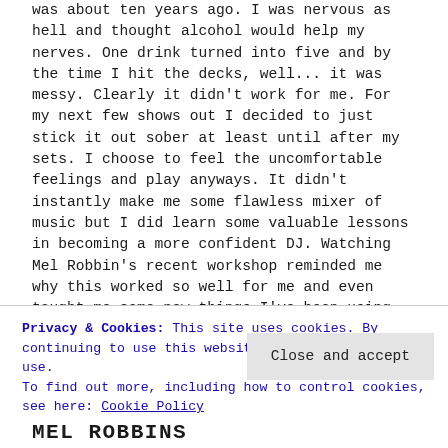was about ten years ago. I was nervous as hell and thought alcohol would help my nerves. One drink turned into five and by the time I hit the decks, well... it was messy. Clearly it didn't work for me. For my next few shows out I decided to just stick it out sober at least until after my sets. I choose to feel the uncomfortable feelings and play anyways. It didn't instantly make me some flawless mixer of music but I did learn some valuable lessons in becoming a more confident DJ. Watching Mel Robbin's recent workshop reminded me why this worked so well for me and even taught me some new things I've been using in production.
Privacy & Cookies: This site uses cookies. By continuing to use this website, you agree to their use. To find out more, including how to control cookies, see here: Cookie Policy
Close and accept
MEL ROBBINS